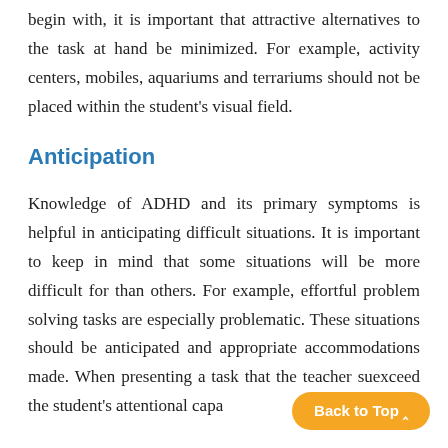begin with, it is important that attractive alternatives to the task at hand be minimized. For example, activity centers, mobiles, aquariums and terrariums should not be placed within the student's visual field.
Anticipation
Knowledge of ADHD and its primary symptoms is helpful in anticipating difficult situations. It is important to keep in mind that some situations will be more difficult for than others. For example, effortful problem solving tasks are especially problematic. These situations should be anticipated and appropriate accommodations made. When presenting a task that the teacher su... exceed the student's attentional capa...